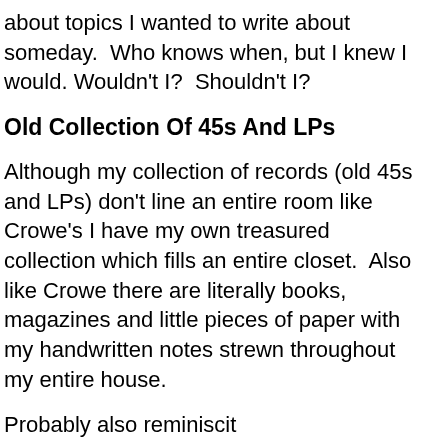about topics I wanted to write about someday.  Who knows when, but I knew I would.  Wouldn't I?  Shouldn't I?
Old Collection Of 45s And LPs
Although my collection of records (old 45s and LPs) don't line an entire room like Crowe's I have my own treasured collection which fills an entire closet.  Also like Crowe there are literally books, magazines and little pieces of paper with my handwritten notes strewn throughout my entire house.
Probably also reminiscit...